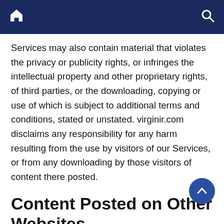virginir.com – home and search navigation bar
Services may also contain material that violates the privacy or publicity rights, or infringes the intellectual property and other proprietary rights, of third parties, or the downloading, copying or use of which is subject to additional terms and conditions, stated or unstated. virginir.com disclaims any responsibility for any harm resulting from the use by visitors of our Services, or from any downloading by those visitors of content there posted.
Content Posted on Other Websites.
We have not reviewed, and cannot review, all of the material, including computer software, made available through the websites and webpages to which virginir.com links, and that link to virginir.com. virginir.com does not have any control over those websites and webpages, and is not responsible or liable